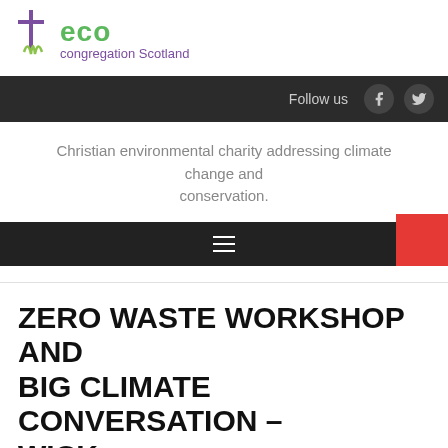[Figure (logo): Eco Congregation Scotland logo with purple cross, green leaf, and text 'eco congregation Scotland']
Follow us
Christian environmental charity addressing climate change and conservation.
[Figure (screenshot): Dark navigation bar with hamburger menu icon and red accent block]
ZERO WASTE WORKSHOP AND BIG CLIMATE CONVERSATION – WICK
By Judith Macleod   August 16, 2019   Highland